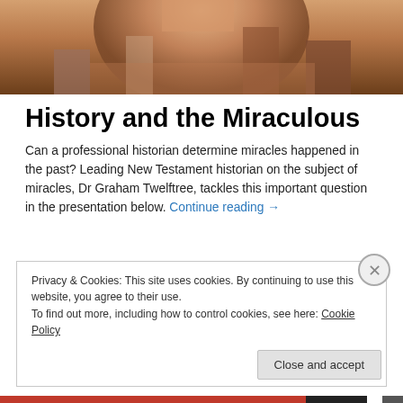[Figure (photo): Top portion of an image showing a person with brown/reddish tones, partially cropped at the top of the page]
History and the Miraculous
Can a professional historian determine miracles happened in the past? Leading New Testament historian on the subject of miracles, Dr Graham Twelftree, tackles this important question in the presentation below. Continue reading →
Privacy & Cookies: This site uses cookies. By continuing to use this website, you agree to their use.
To find out more, including how to control cookies, see here: Cookie Policy
Close and accept